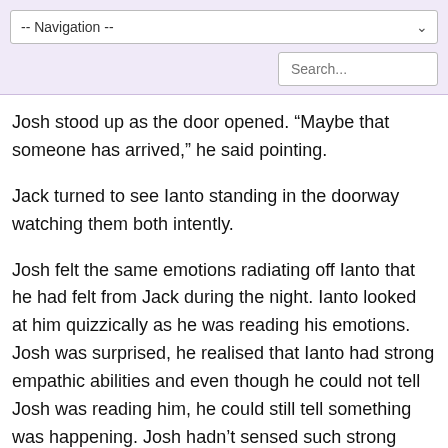-- Navigation --
Josh stood up as the door opened. “Maybe that someone has arrived,” he said pointing.
Jack turned to see Ianto standing in the doorway watching them both intently.
Josh felt the same emotions radiating off Ianto that he had felt from Jack during the night. Ianto looked at him quizzically as he was reading his emotions. Josh was surprised, he realised that Ianto had strong empathic abilities and even though he could not tell Josh was reading him, he could still tell something was happening. Josh hadn’t sensed such strong abilities in a very long time, especially not in a human.